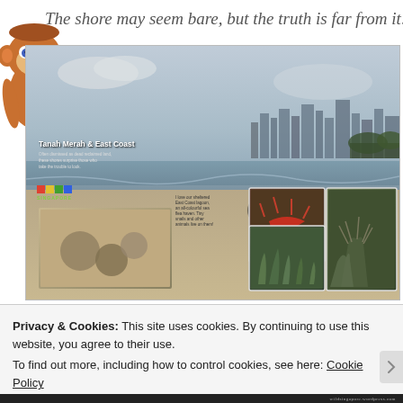The shore may seem bare, but the truth is far from it!
[Figure (photo): Composite image of Tanah Merah & East Coast shore showing a wide sandy beach with people walking, city skyline in the background, plus inset photos of marine life including what appears to be sea urchins in sand, a red crab or shrimp, seagrass, and coastal shrubs. Wild Singapore logo visible. Caption: 'Tanah Merah & East Coast – Often dismissed as dead reclaimed land, these shores surprise those who take the trouble to look.']
Privacy & Cookies: This site uses cookies. By continuing to use this website, you agree to their use.
To find out more, including how to control cookies, see here: Cookie Policy
Close and accept